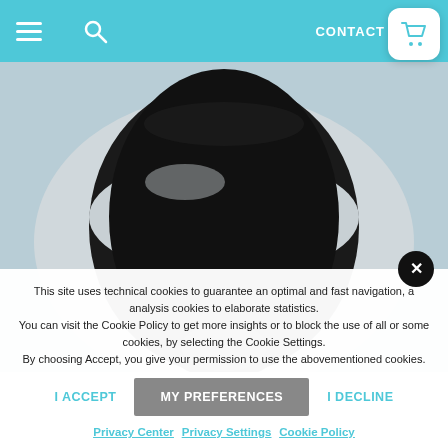CONTACT US  0
[Figure (photo): Top-down view of a toilet bowl (white/grey) showing the open seat and black interior, shot from above.]
This site uses technical cookies to guarantee an optimal and fast navigation, and analysis cookies to elaborate statistics.
You can visit the Cookie Policy to get more insights or to block the use of all or some cookies, by selecting the Cookie Settings.
By choosing Accept, you give your permission to use the abovementioned cookies.
I ACCEPT
MY PREFERENCES
I DECLINE
Privacy Center   Privacy Settings   Cookie Policy